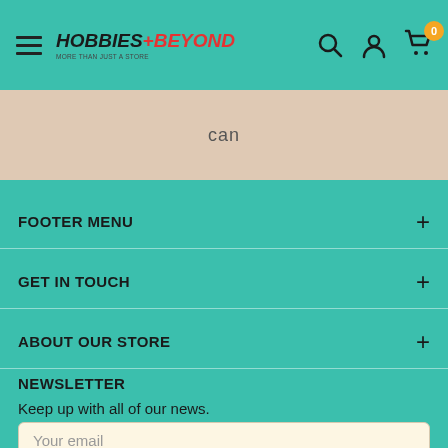[Figure (screenshot): Website header navigation bar with hamburger menu, Hobbies+Beyond logo, search icon, account icon, and cart icon with badge showing 0]
can
FOOTER MENU
GET IN TOUCH
ABOUT OUR STORE
NEWSLETTER
Keep up with all of our news.
Your email